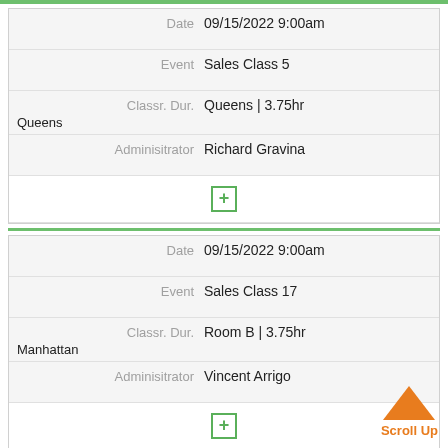| Field | Value |
| --- | --- |
| Date | 09/15/2022 9:00am |
| Event | Sales Class 5 |
| Classr. Dur. | Queens | 3.75hr |
| Adminisitrator | Richard Gravina |
| Field | Value |
| --- | --- |
| Date | 09/15/2022 9:00am |
| Event | Sales Class 17 |
| Classr. Dur. | Room B | 3.75hr |
| Adminisitrator | Vincent Arrigo |
| Field | Value |
| --- | --- |
| Date | 09/15/2022 9:30am |
| Event | Environmental Health I |
|  | Asbestos & Lead |